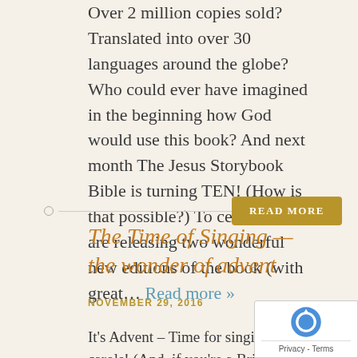Over 2 million copies sold? Translated into over 30 languages around the globe? Who could ever have imagined in the beginning how God would use this book? And next month The Jesus Storybook Bible is turning TEN! (How is that possible?) To celebrate we are releasing two wonderful new editions of the book (with great… Read more »
READ MORE
The Time of Singing — the wonder of advent
NOVEMBER 29, 2016
It's Advent – Time for singing! And carols! (And, if you're a Brit, mince pies!) When the Angel told Mary that she would give birth to God's baby boy, Mary's response was to sing – the Magnificat. When the